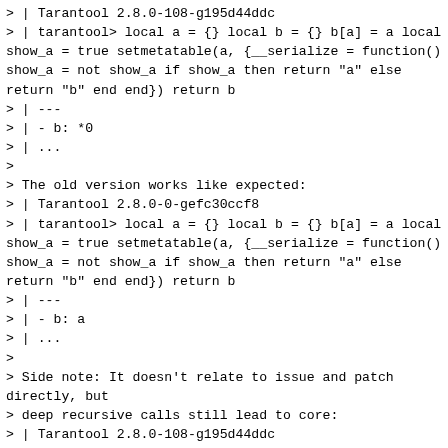> | Tarantool 2.8.0-108-g195d44ddc
> | tarantool> local a = {} local b = {} b[a] = a local show_a = true setmetatable(a, {__serialize = function() show_a = not show_a if show_a then return "a" else return "b" end end}) return b
> | ---
> | - b: *0
> | ...
>
> The old version works like expected:
> | Tarantool 2.8.0-0-gefc30ccf8
> | tarantool> local a = {} local b = {} b[a] = a local show_a = true setmetatable(a, {__serialize = function() show_a = not show_a if show_a then return "a" else return "b" end end}) return b
> | ---
> | - b: a
> | ...
>
> Side note: It doesn't relate to issue and patch directly, but
> deep recursive calls still lead to core:
> | Tarantool 2.8.0-108-g195d44ddc
> | tarantool> local a = {} a[a] = a local recf recf = function(t) return setmetatable({}, {__serialize = recf}) end setmetatable(a, {__serialize = recf}) return a
> | Segmentation fault (core dumped)
>
> With the backtrace that looks like the following: